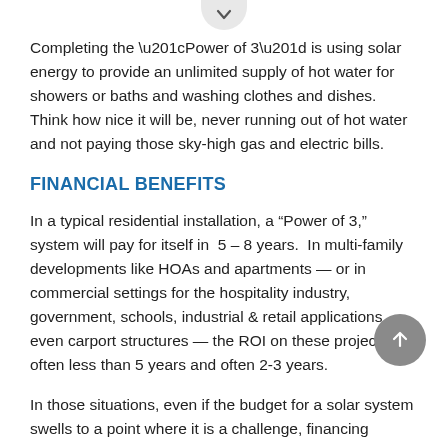Completing the “Power of 3” is using solar energy to provide an unlimited supply of hot water for showers or baths and washing clothes and dishes. Think how nice it will be, never running out of hot water and not paying those sky-high gas and electric bills.
FINANCIAL BENEFITS
In a typical residential installation, a “Power of 3,” system will pay for itself in  5 – 8 years.  In multi-family developments like HOAs and apartments — or in commercial settings for the hospitality industry, government, schools, industrial & retail applications, even carport structures — the ROI on these projects is often less than 5 years and often 2-3 years.
In those situations, even if the budget for a solar system swells to a point where it is a challenge, financing